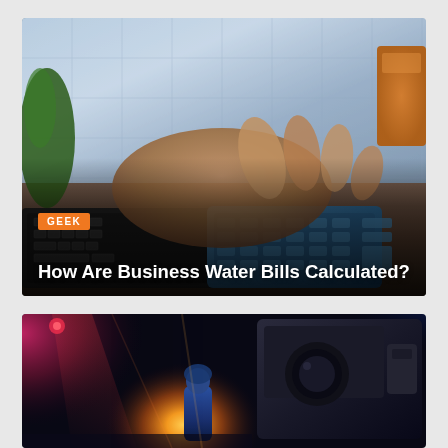[Figure (photo): A person in a checkered blue shirt using a calculator on a desk, with a dark keyboard, a blue calculator, a green plant on the left, and an orange cup on the right. Orange 'GEEK' label badge and white title text overlay on dark gradient at bottom.]
GEEK
How Are Business Water Bills Calculated?
[Figure (photo): A concert or stage scene with dramatic lighting — pink/magenta lights on the left, a bright warm orange glow in the center-left, blue/purple lights on the upper right, a small figure in blue jacket in the center, and large camera equipment on the right side.]